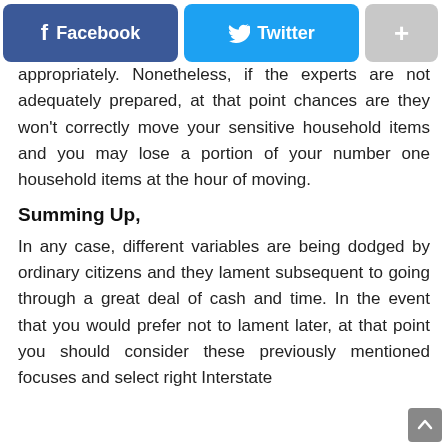[Figure (infographic): Social share bar with Facebook (blue), Twitter (light blue), and plus/more button (gray)]
appropriately. Nonetheless, if the experts are not adequately prepared, at that point chances are they won't correctly move your sensitive household items and you may lose a portion of your number one household items at the hour of moving.
Summing Up,
In any case, different variables are being dodged by ordinary citizens and they lament subsequent to going through a great deal of cash and time. In the event that you would prefer not to lament later, at that point you should consider these previously mentioned focuses and select right Interstate